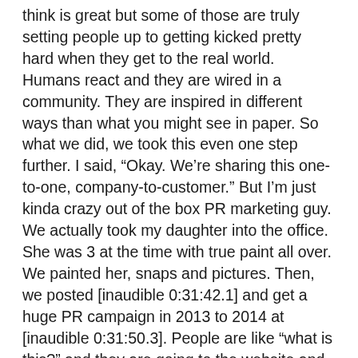think is great but some of those are truly setting people up to getting kicked pretty hard when they get to the real world. Humans react and they are wired in a community. They are inspired in different ways than what you might see in paper. So what we did, we took this even one step further. I said, “Okay. We’re sharing this one-to-one, company-to-customer.” But I’m just kinda crazy out of the box PR marketing guy. We actually took my daughter into the office. She was 3 at the time with true paint all over. We painted her, snaps and pictures. Then, we posted [inaudible 0:31:42.1] and get a huge PR campaign in 2013 to 2014 at [inaudible 0:31:50.3]. People are like “what is this?” and they are going to the website and were sharing them story. Our revenue spiked. Our net profit spiked because of that. Other painters were like “Your competition has nothing on you.” If you’re sharing your worst thing, this industry is filled with companies and every industry as where they cut their competitors down and make them [inaudible 0:32:13.5].” We just said, “Okay. That’s the worst thing you got. Now, what do you got?” it